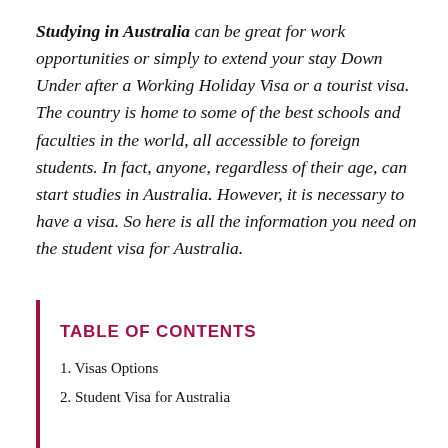Studying in Australia can be great for work opportunities or simply to extend your stay Down Under after a Working Holiday Visa or a tourist visa. The country is home to some of the best schools and faculties in the world, all accessible to foreign students. In fact, anyone, regardless of their age, can start studies in Australia. However, it is necessary to have a visa. So here is all the information you need on the student visa for Australia.
TABLE OF CONTENTS
1. Visas Options
2. Student Visa for Australia